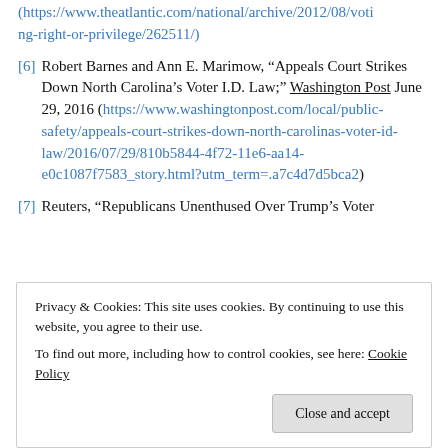(https://www.theatlantic.com/national/archive/2012/08/voting-right-or-privilege/262511/)
[6] Robert Barnes and Ann E. Marimow, “Appeals Court Strikes Down North Carolina’s Voter I.D. Law;” Washington Post June 29, 2016 (https://www.washingtonpost.com/local/public-safety/appeals-court-strikes-down-north-carolinas-voter-id-law/2016/07/29/810b5844-4f72-11e6-aa14-e0c1087f7583_story.html?utm_term=.a7c4d7d5bca2)
[7] Reuters, “Republicans Unenthused Over Trump’s Voter
Privacy & Cookies: This site uses cookies. By continuing to use this website, you agree to their use. To find out more, including how to control cookies, see here: Cookie Policy